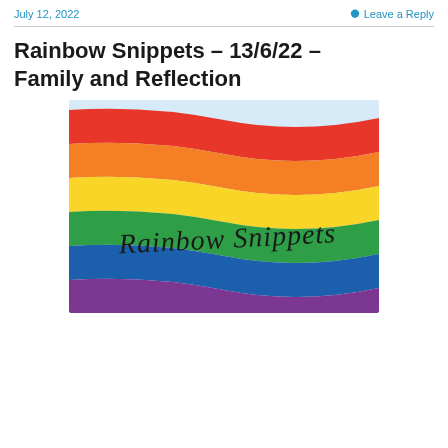July 12, 2022   Leave a Reply
Rainbow Snippets – 13/6/22 – Family and Reflection
[Figure (photo): A rainbow pride flag with diagonal fabric waves, featuring horizontal stripes in red, orange, yellow, green, blue, and purple. Text 'Rainbow Snippets' written in cursive script overlaid on the flag against a light blue sky background.]